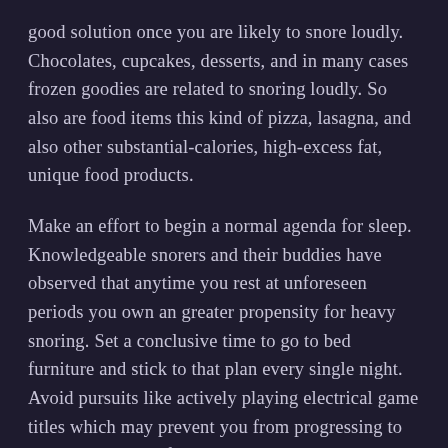good solution once you are likely to snore loudly. Chocolates, cupcakes, desserts, and in many cases frozen goodies are related to snoring loudly. So also are food items this kind of pizza, lasagna, and also other substantial-calories, high-excess fat, unique food products.
Make an effort to begin a normal agenda for sleep. Knowledgeable snorers and their buddies have observed that anytime you rest at unforeseen periods you own an greater propensity for heavy snoring. Set a conclusive time to go to bed furniture and stick to that plan every single night. Avoid pursuits like actively playing electrical game titles which may prevent you from progressing to sleeping on the defined time.